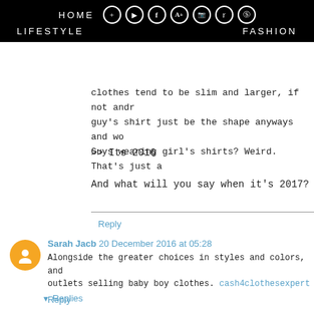HOME  LIFESTYLE  FASHION
clothes tend to be slim and larger, if not andr... guy's shirt just be the shape anyways and wo... Guys wearing girl's shirts? Weird. That's just a
>> Its 2016
And what will you say when it's 2017?
Reply
Sarah Jacb 20 December 2016 at 05:28
Alongside the greater choices in styles and colors, and... outlets selling baby boy clothes. cash4clothesexpert
Reply
▾ Replies